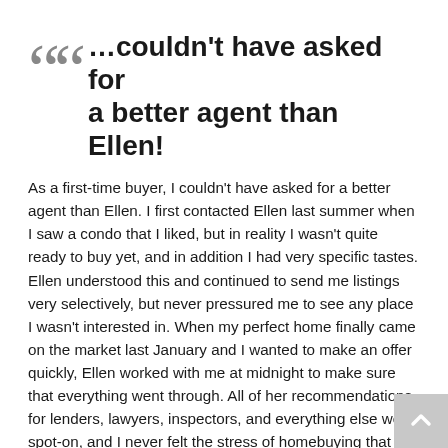…couldn't have asked for a better agent than Ellen!
As a first-time buyer, I couldn't have asked for a better agent than Ellen. I first contacted Ellen last summer when I saw a condo that I liked, but in reality I wasn't quite ready to buy yet, and in addition I had very specific tastes. Ellen understood this and continued to send me listings very selectively, but never pressured me to see any place I wasn't interested in. When my perfect home finally came on the market last January and I wanted to make an offer quickly, Ellen worked with me at midnight to make sure that everything went through. All of her recommendations for lenders, lawyers, inspectors, and everything else were spot-on, and I never felt the stress of homebuying that some of my friends have described because Ellen made everything easy. In addition to all that, she was a lot of fun to work with and made my entire experience very positive. I recommended Ellen wholeheartedly.